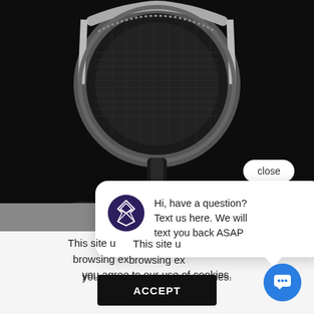[Figure (photo): Close-up photo of a professional condenser microphone (large diaphragm, silver/black) with a cable attached, on a dark black background]
[Figure (screenshot): UI close button — pill-shaped white button with text 'close']
[Figure (screenshot): Chat widget popup bubble. Contains a circular avatar (dark purple with geometric logo) and text: 'Hi, have a question? Text us here. We will text you back ASAP']
This site u[ses cookies to improve your] browsing ex[perience. By continuing,] you agree to our use of cookies.
[Figure (screenshot): Black 'ACCEPT' button for cookie consent]
[Figure (screenshot): Blue circular chat button with speech bubble icon at bottom right]